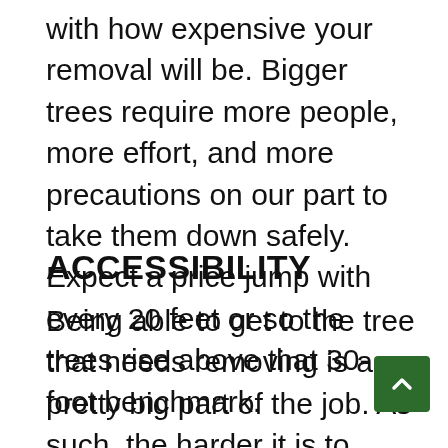with how expensive your removal will be. Bigger trees require more people, more effort, and more precautions on our part to take them down safely. Expect a price jump with every 20 feet or so the trees rise above that 30-foot benchmark.
ACCESSIBILITY
Being able to get to the tree that needs removing is a pretty big part of the job. As such, the harder it is to access your tree, the more it'll cost to remove. A harde tree means a longer job and more effort